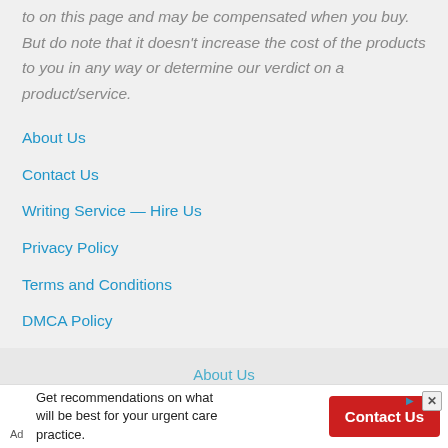to on this page and may be compensated when you buy. But do note that it doesn't increase the cost of the products to you in any way or determine our verdict on a product/service.
About Us
Contact Us
Writing Service — Hire Us
Privacy Policy
Terms and Conditions
DMCA Policy
Curation Policy
About Us
Get recommendations on what will be best for your urgent care practice. Ad | Contact Us